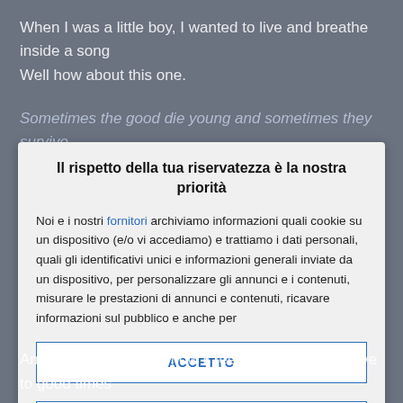When I was a little boy, I wanted to live and breathe inside a song
Well how about this one.
Il rispetto della tua riservatezza è la nostra priorità
Sometimes the good die young and sometimes they survive
Noi e i nostri fornitori archiviamo informazioni quali cookie su un dispositivo (e/o vi accediamo) e trattiamo i dati personali, quali gli identificativi unici e informazioni generali inviate da un dispositivo, per personalizzare gli annunci e i contenuti, misurare le prestazioni di annunci e contenuti, ricavare informazioni sul pubblico e anche per
ACCETTO
PIÙ OPZIONI
And I don't remember how it feels to dance, goodbye to good times